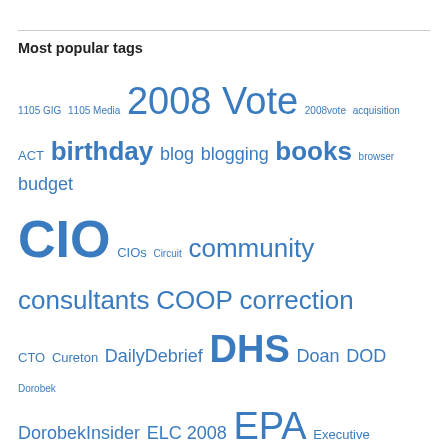Most popular tags
1105 GIG 1105 Media 2008 Vote 2008vote acquisition ACT birthday blog blogging books browser budget CIO CIOs Circuit community consultants COOP correction CTO Cureton DailyDebrief DHS Doan DOD Dorobek DorobekInsider ELC 2008 EPA Executive FAS FCW FederalNewsRadio Federal News Radio Federal News Radio book club Gadgets Gartner GITEC Google Government 2.0 government shutdown GSA